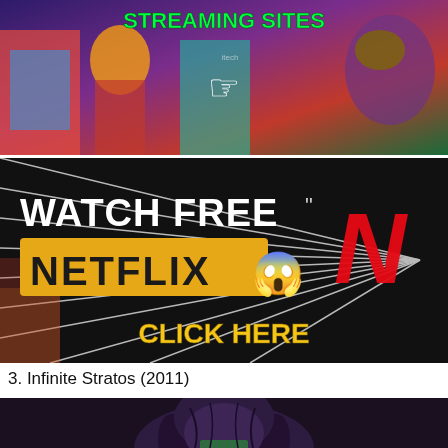[Figure (screenshot): Top banner image showing anime characters with text 'STREAMING SITES' in green on a colorful anime-style background with a cursor hand icon]
[Figure (screenshot): Dark advertisement banner reading 'WATCH FREE NETFLIX' with yellow Netflix-style logo, shocked emoji, Netflix N logo in red, and 'CLICK HERE' in yellow text on black burst background]
3. Infinite Stratos (2011)
[Figure (illustration): Partial view of an anime character with dark purple hair from behind, cropped at bottom of page]